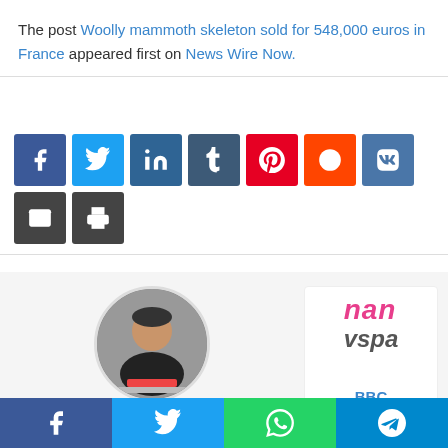The post Woolly mammoth skeleton sold for 548,000 euros in France appeared first on News Wire Now.
[Figure (infographic): Social media share buttons row: Facebook (blue), Twitter (light blue), LinkedIn (dark blue), Tumblr (dark grey-blue), Pinterest (red), Reddit (orange-red), VK (blue), Email (dark grey), Print (dark grey)]
[Figure (photo): Circular avatar photo of admin user (man in black jacket at laptop), next to a partially visible advertisement card showing 'nan' and 'vspa' in italic pink/grey text and 'BBC' in blue]
admin
BBC
[Figure (infographic): Bottom mobile share bar with four buttons: Facebook (blue), Twitter (light blue), WhatsApp (green), Telegram (light blue)]